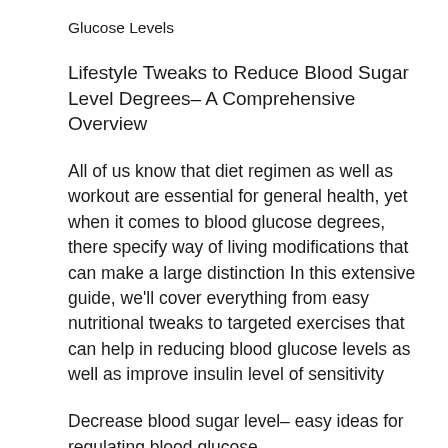Glucose Levels
Lifestyle Tweaks to Reduce Blood Sugar Level Degrees– A Comprehensive Overview
All of us know that diet regimen as well as workout are essential for general health, yet when it comes to blood glucose degrees, there specify way of living modifications that can make a large distinction In this extensive guide, we'll cover everything from easy nutritional tweaks to targeted exercises that can help in reducing blood glucose levels as well as improve insulin level of sensitivity
Decrease blood sugar level– easy ideas for regulating blood glucose